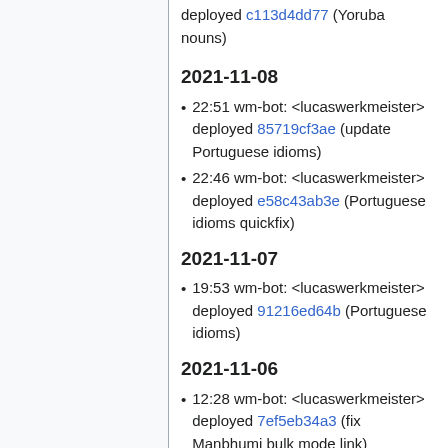deployed c113d4dd77 (Yoruba nouns)
2021-11-08
22:51 wm-bot: <lucaswerkmeister> deployed 85719cf3ae (update Portuguese idioms)
22:46 wm-bot: <lucaswerkmeister> deployed e58c43ab3e (Portuguese idioms quickfix)
2021-11-07
19:53 wm-bot: <lucaswerkmeister> deployed 91216ed64b (Portuguese idioms)
2021-11-06
12:28 wm-bot: <lucaswerkmeister> deployed 7ef5eb34a3 (fix Manbhumi bulk mode link)